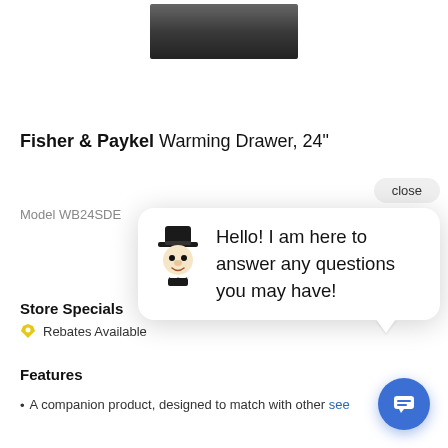[Figure (photo): Product image of Fisher & Paykel Warming Drawer, dark stainless finish, cropped at top]
Fisher & Paykel Warming Drawer, 24"
Model WB24SDE
[Figure (screenshot): Chat bot popup bubble with avatar character wearing top hat saying: Hello! I am here to answer any questions you may have! With a close button and chat icon button.]
Store Specials
Rebates Available
Features
A companion product, designed to match with other see